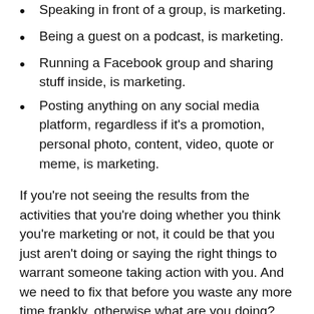Speaking in front of a group, is marketing.
Being a guest on a podcast, is marketing.
Running a Facebook group and sharing stuff inside, is marketing.
Posting anything on any social media platform, regardless if it's a promotion, personal photo, content, video, quote or meme, is marketing.
If you're not seeing the results from the activities that you're doing whether you think you're marketing or not, it could be that you just aren't doing or saying the right things to warrant someone taking action with you. And we need to fix that before you waste any more time frankly, otherwise what are you doing?
Here are the three types of